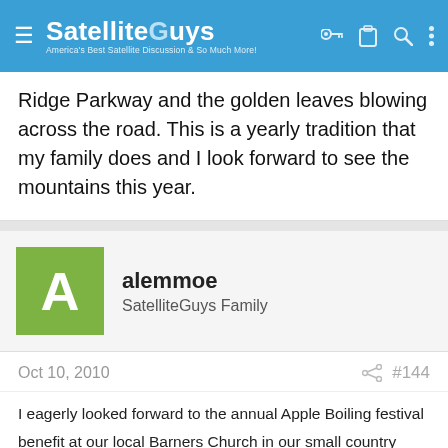SatelliteGuys — America's Best Satellite Discussion & So Much More!
Ridge Parkway and the golden leaves blowing across the road. This is a yearly tradition that my family does and I look forward to see the mountains this year.
alemmoe
SatelliteGuys Family
Oct 10, 2010  #144
I eagerly looked forward to the annual Apple Boiling festival benefit at our local Barners Church in our small country town. They would start cooking the apples in five 36 quart Kettles, 24 hours before the event and volunteers would stir it constantly with long handled, large wooden paddles to keep it from burning. The day of the event, people would drive from far and wide to enjoy a meal of homemade Pot Pie, Cabbage Slaw, Apple Snitz Pie and warm Bread fresh out of the oven topped with Warm Apple butter.